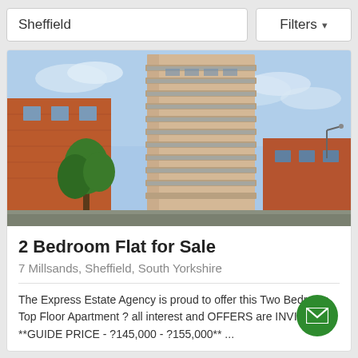Sheffield
Filters ▾
[Figure (photo): Exterior photo of a modern high-rise residential tower with curved balconies, flanked by red brick buildings, with trees and blue sky in the background.]
2 Bedroom Flat for Sale
7 Millsands, Sheffield, South Yorkshire
The Express Estate Agency is proud to offer this Two Bedroom Top Floor Apartment ? all interest and OFFERS are INVITED. **GUIDE PRICE - ?145,000 - ?155,000** ...